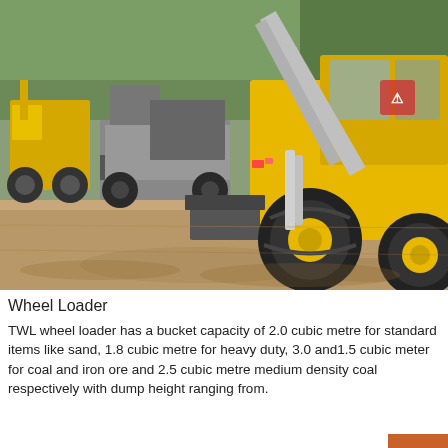[Figure (photo): Photograph of yellow wheel loaders and heavy construction equipment parked on a dirt/gravel yard, with trees visible in the background. A large yellow wheel loader is prominent in the foreground right side.]
Wheel Loader
TWL wheel loader has a bucket capacity of 2.0 cubic metre for standard items like sand, 1.8 cubic metre for heavy duty, 3.0 and1.5 cubic meter for coal and iron ore and 2.5 cubic metre medium density coal respectively with dump height ranging from.